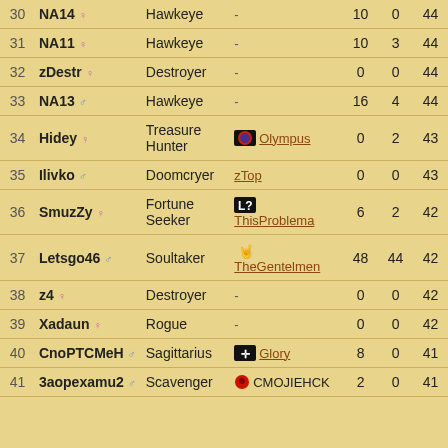| # | Name | Class | Guild |  |  |  |
| --- | --- | --- | --- | --- | --- | --- |
| 30 | NA14 ♀ | Hawkeye | - | 10 | 0 | 44 |
| 31 | NA11 ♀ | Hawkeye | - | 10 | 3 | 44 |
| 32 | zDestr ♀ | Destroyer | - | 0 | 0 | 44 |
| 33 | NA13 ♂ | Hawkeye | - | 16 | 4 | 44 |
| 34 | Hidey ♀ | Treasure Hunter | Olympus | 0 | 2 | 43 |
| 35 | Ilivko ♂ | Doomcryer | zTop | 0 | 0 | 43 |
| 36 | SmuzZy ♀ | Fortune Seeker | ThisProblema | 6 | 2 | 42 |
| 37 | Letsgo46 ♂ | Soultaker | TheGentelmen | 48 | 44 | 42 |
| 38 | z4 ♀ | Destroyer | - | 0 | 0 | 42 |
| 39 | Xadaun ♀ | Rogue | - | 0 | 0 | 42 |
| 40 | CnoPTCMeH ♂ | Sagittarius | Glory | 8 | 0 | 41 |
| 41 | 3aopexamu2 ♂ | Scavenger | CMOJIEHCK | 2 | 0 | 41 |